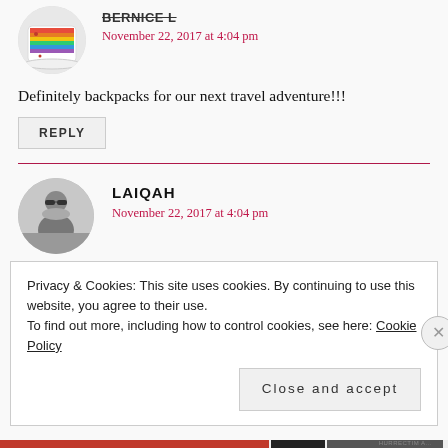[Figure (photo): Circular avatar showing a rainbow-striped heart-shaped cake on a white plate, partially cropped at top]
November 22, 2017 at 4:04 pm
Definitely backpacks for our next travel adventure!!!
REPLY
[Figure (photo): Circular avatar showing a woman with sunglasses in black and white photo]
LAIQAH
November 22, 2017 at 4:04 pm
Privacy & Cookies: This site uses cookies. By continuing to use this website, you agree to their use.
To find out more, including how to control cookies, see here: Cookie Policy
Close and accept